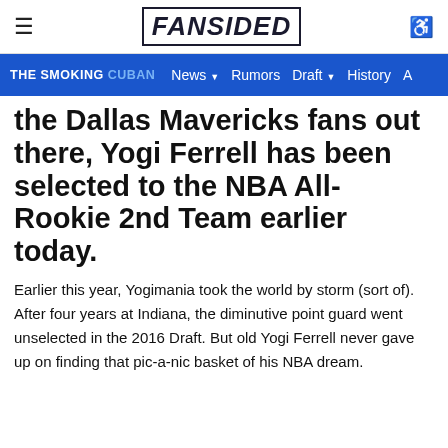FANSIDED
THE SMOKING CUBAN  News  Rumors  Draft  History  A
the Dallas Mavericks fans out there, Yogi Ferrell has been selected to the NBA All-Rookie 2nd Team earlier today.
Earlier this year, Yogimania took the world by storm (sort of). After four years at Indiana, the diminutive point guard went unselected in the 2016 Draft. But old Yogi Ferrell never gave up on finding that pic-a-nic basket of his NBA dream.
Ferrell initially found an NBA home with the Brooklyn Nets. After being largely unproductive with the team, he was demoted to the D-League. A couple of months later, the Mavericks came calling with a ten-day contract. As Mark Cuban would later say, the